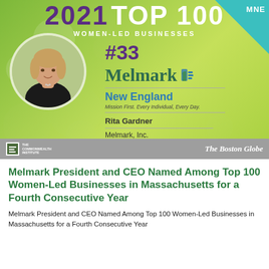[Figure (infographic): 2021 Top 100 Women-Led Businesses award graphic for Melmark New England, ranked #33. Features a photo of Rita Gardner, the Melmark logo, and sponsor logos from The Commonwealth Institute and The Boston Globe.]
Melmark President and CEO Named Among Top 100 Women-Led Businesses in Massachusetts for a Fourth Consecutive Year
Melmark President and CEO Named Among Top 100 Women-Led Businesses in Massachusetts for a Fourth Consecutive Year